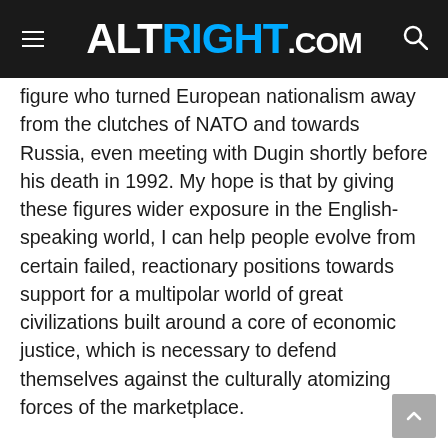ALTRIGHT.COM
figure who turned European nationalism away from the clutches of NATO and towards Russia, even meeting with Dugin shortly before his death in 1992. My hope is that by giving these figures wider exposure in the English-speaking world, I can help people evolve from certain failed, reactionary positions towards support for a multipolar world of great civilizations built around a core of economic justice, which is necessary to defend themselves against the culturally atomizing forces of the marketplace.